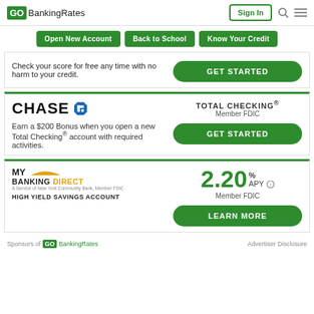GOBankingRates | Sign In
Open New Account | Back to School | Know Your Credit
Check your score for free any time with no harm to your credit.
GET STARTED
[Figure (logo): Chase logo with octagon symbol]
TOTAL CHECKING® Member FDIC
Earn a $200 Bonus when you open a new Total Checking® account with required activities.
GET STARTED
[Figure (logo): My Banking Direct logo with yellow swoosh]
HIGH YIELD SAVINGS ACCOUNT
2.20% APY Member FDIC
LEARN MORE
Sponsors of GOBankingRates | Advertiser Disclosure